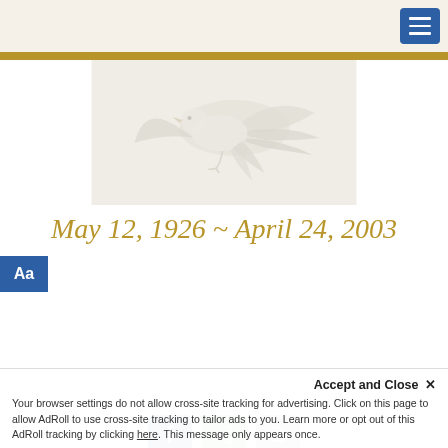[Figure (photo): White dove in flight against a light beige/cream background]
May 12, 1926 ~ April 24, 2003
[Figure (screenshot): Three golden pill-shaped buttons: 'Light a Candle', 'Add a Memory to the Timeline', 'Sign the Guestbook'. An 'Aa' accessibility button in blue. Social share icons (Facebook, share, print).]
Accept and Close ✕
Your browser settings do not allow cross-site tracking for advertising. Click on this page to allow AdRoll to use cross-site tracking to tailor ads to you. Learn more or opt out of this AdRoll tracking by clicking here. This message only appears once.